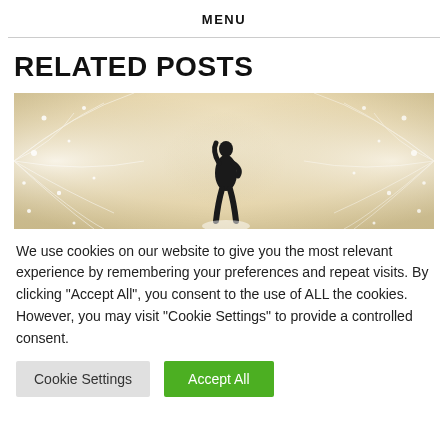MENU
RELATED POSTS
[Figure (illustration): A silhouetted figure with one arm raised against a glowing beige/cream background with radiating light rays and sparkle effects on both sides.]
We use cookies on our website to give you the most relevant experience by remembering your preferences and repeat visits. By clicking "Accept All", you consent to the use of ALL the cookies. However, you may visit "Cookie Settings" to provide a controlled consent.
Cookie Settings | Accept All